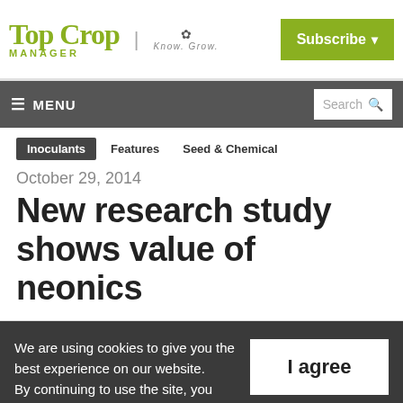Top Crop Manager | Know. Grow. | Subscribe
≡ MENU | Search
Inoculants
Features
Seed & Chemical
October 29, 2014
New research study shows value of neonics
We are using cookies to give you the best experience on our website.
By continuing to use the site, you agree to the use of cookies.
To find out more, read our privacy policy.